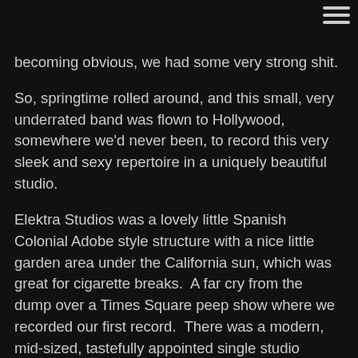[Figure (other): Hamburger menu icon (three horizontal lines) in the top-right corner]
becoming obvious, we had some very strong shit.
So, springtime rolled around, and this small, very underrated band was flown to Hollywood, somewhere we'd never been, to record this very sleek and sexy repertoire in a uniquely beautiful studio.
Elektra Studios was a lovely little Spanish Colonial Adobe style structure with a nice little garden area under the California sun, which was great for cigarette breaks.  A far cry from the dump over a Times Square peep show where we recorded our first record.  There was a modern, mid-sized, tastefully appointed single studio inside, where we could fill the room with our intense vibes.  This felt like a place where we could make some fucking art.  So, we did.  The set up was all of us together in the same room,